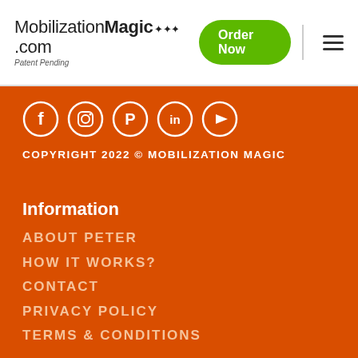MobilizationMagic.com Patent Pending
[Figure (logo): MobilizationMagic.com logo with stars, Patent Pending subtitle, Order Now green button, and hamburger menu icon]
[Figure (infographic): Five social media icons in circles: Facebook, Instagram, Pinterest, LinkedIn, YouTube on orange background]
COPYRIGHT 2022 © MOBILIZATION MAGIC
Information
ABOUT PETER
HOW IT WORKS?
CONTACT
PRIVACY POLICY
TERMS & CONDITIONS